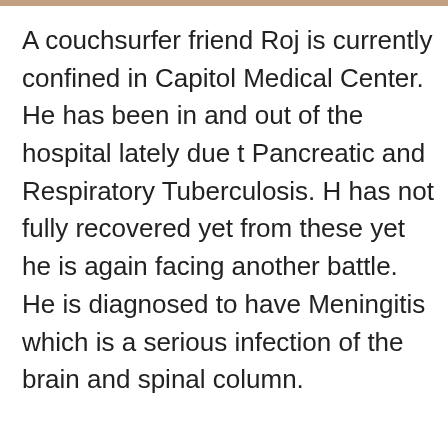A couchsurfer friend Roj is currently confined in Capitol Medical Center. He has been in and out of the hospital lately due to Pancreatic and Respiratory Tuberculosis. He has not fully recovered yet from these yet he is again facing another battle. He is diagnosed to have Meningitis which is a serious infection of the brain and spinal column.